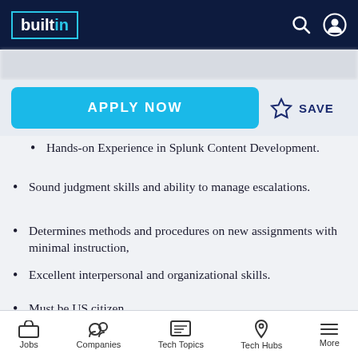builtin
Hands-on Experience in Splunk Content Development.
Sound judgment skills and ability to manage escalations.
Determines methods and procedures on new assignments with minimal instruction,
Excellent interpersonal and organizational skills.
Must be US citizen.
Preferred:
Jobs  Companies  Tech Topics  Tech Hubs  More